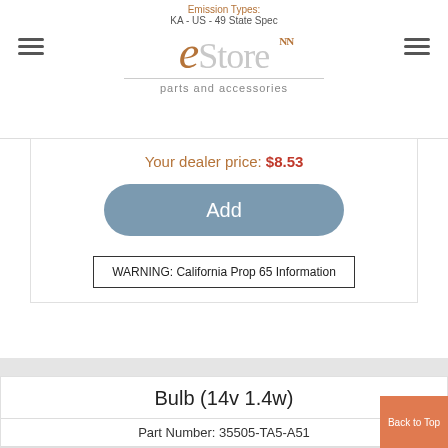eStore parts and accessories - KA - US - 49 State Spec
Your dealer price: $8.53
Add
WARNING: California Prop 65 Information
Bulb (14v 1.4w)
| Part Number |
| --- |
| 35505-TA5-A51 |
Mfg. Origin: *CAN
Emission Types:
KA - US - 49 State Spec